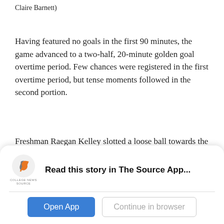Claire Barnett)
Having featured no goals in the first 90 minutes, the game advanced to a two-half, 20-minute golden goal overtime period. Few chances were registered in the first overtime period, but tense moments followed in the second portion.
Freshman Raegan Kelley slotted a loose ball towards the left post in close quarters with just two minutes left, but Krzeczowski made an impressive ground save befitting her reputation as a highly skilled nettender. Krzeczowski made another stop on a subsequent header from Peyton Cutshall, which had fallen invitingly at the foot of the right post in the
[Figure (logo): College News Source logo - stylized S mark in orange/gray with text COLLEGE NEWS SOURCE below]
Read this story in The Source App...
Open App
Continue in browser